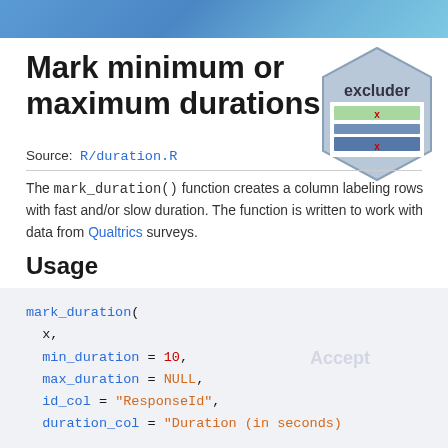Mark minimum or maximum durations
Source: R/duration.R
[Figure (logo): Hexagonal badge logo for the 'excluder' R package, showing the word 'excluder' with colored horizontal bars inside a hexagon shape.]
The mark_duration() function creates a column labeling rows with fast and/or slow duration. The function is written to work with data from Qualtrics surveys.
Usage
mark_duration(
  x,
  min_duration = 10,
  max_duration = NULL,
  id_col = "ResponseId",
  duration_col = "Duration (in seconds)"